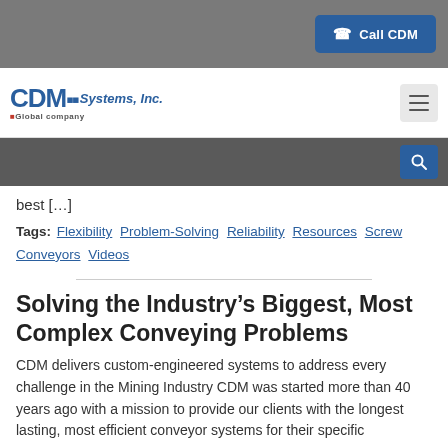Call CDM
[Figure (logo): CDM Systems, Inc. logo with tagline]
best [...]
Tags: Flexibility  Problem-Solving  Reliability  Resources  Screw Conveyors  Videos
Solving the Industry's Biggest, Most Complex Conveying Problems
CDM delivers custom-engineered systems to address every challenge in the Mining Industry CDM was started more than 40 years ago with a mission to provide our clients with the longest lasting, most efficient conveyor systems for their specific